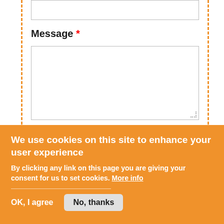Message *
[Figure (screenshot): A web form with a Message label (asterisk in red), a large textarea input box, and a 'Send message >>' button. Orange dashed vertical borders frame the form content.]
We use cookies on this site to enhance your user experience
By clicking any link on this page you are giving your consent for us to set cookies. More info
OK, I agree
No, thanks